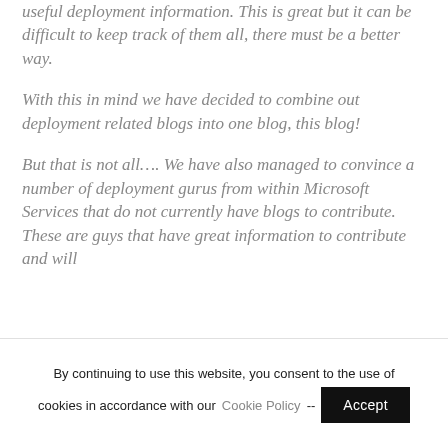useful deployment information. This is great but it can be difficult to keep track of them all, there must be a better way.
With this in mind we have decided to combine out deployment related blogs into one blog, this blog!
But that is not all…. We have also managed to convince a number of deployment gurus from within Microsoft Services that do not currently have blogs to contribute.  These are guys that have great information to contribute and will
By continuing to use this website, you consent to the use of cookies in accordance with our Cookie Policy -- Accept